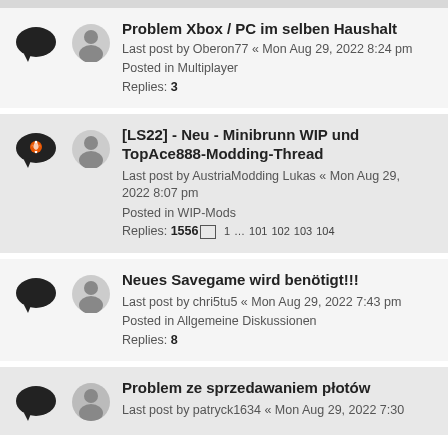Problem Xbox / PC im selben Haushalt — Last post by Oberon77 « Mon Aug 29, 2022 8:24 pm — Posted in Multiplayer — Replies: 3
[LS22] - Neu - Minibrunn WIP und TopAce888-Modding-Thread — Last post by AustriaModding Lukas « Mon Aug 29, 2022 8:07 pm — Posted in WIP-Mods — Replies: 1556 — 1 ... 101 102 103 104
Neues Savegame wird benötigt!!! — Last post by chri5tu5 « Mon Aug 29, 2022 7:43 pm — Posted in Allgemeine Diskussionen — Replies: 8
Problem ze sprzedawaniem płotów — Last post by patryck1634 « Mon Aug 29, 2022 7:30